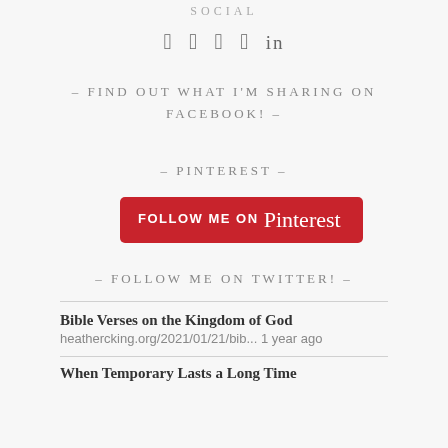SOCIAL
[Figure (infographic): Social media icons: Facebook, Twitter, Instagram, Pinterest, LinkedIn]
- FIND OUT WHAT I'M SHARING ON FACEBOOK! -
- PINTEREST -
[Figure (logo): Follow me on Pinterest button (red rounded rectangle)]
- FOLLOW ME ON TWITTER! -
Bible Verses on the Kingdom of God
heathercking.org/2021/01/21/bib... 1 year ago
When Temporary Lasts a Long Time